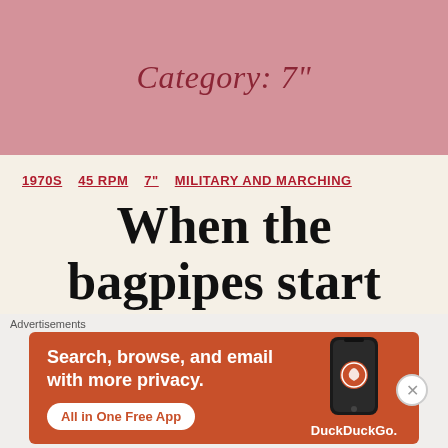Category: 7"
1970S  45 RPM  7"  MILITARY AND MARCHING
When the bagpipes start up
By Richard Evans  April 24, 2018
[Figure (other): DuckDuckGo advertisement banner: 'Search, browse, and email with more privacy. All in One Free App' with phone illustration and DuckDuckGo logo]